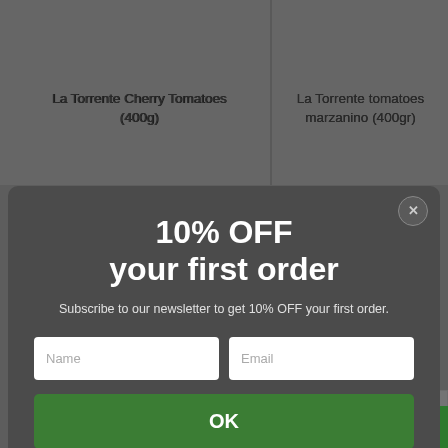[Figure (screenshot): Background of an e-commerce product page showing two product cards: 'La Torrente Cherry Tomatoes (400g)' and 'La Torrente tomatoes marzanino (400gr)', partially dimmed by modal overlay]
[Figure (screenshot): Modal popup with dark background offering 10% OFF first order newsletter subscription, with Name and Email input fields and an OK button]
10% OFF
your first order
Subscribe to our newsletter to get 10% OFF your first order.